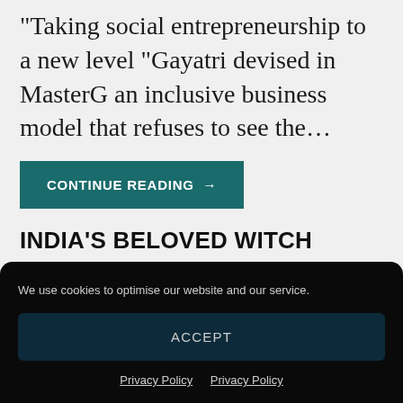Taking social entrepreneurship to a new level “Gayatri devised in MasterG an inclusive business model that refuses to see the…
CONTINUE READING →
INDIA’S BELOVED WITCH
We use cookies to optimise our website and our service.
ACCEPT
Privacy Policy   Privacy Policy